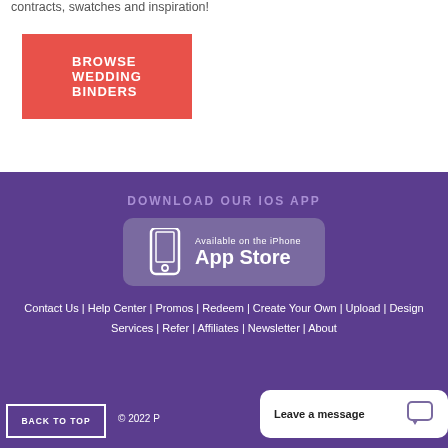contracts, swatches and inspiration!
BROWSE WEDDING BINDERS
DOWNLOAD OUR iOS APP
[Figure (illustration): App Store badge showing iPhone icon with text 'Available on the iPhone App Store']
Contact Us | Help Center | Promos | Redeem | Create Your Own | Upload | Design Services | Refer | Affiliates | Newsletter | About
BACK TO TOP
© 2022 P…
Leave a message